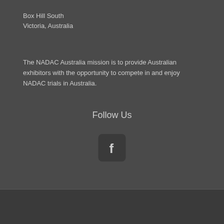Box Hill South
Victoria, Australia
The NADAC Australia mission is to provide Australian exhibitors with the opportunity to compete in and enjoy NADAC trials in Australia.
Follow Us
[Figure (logo): Facebook logo icon — white 'f' on dark square background with rounded corners]
NADAC Australia © 2022